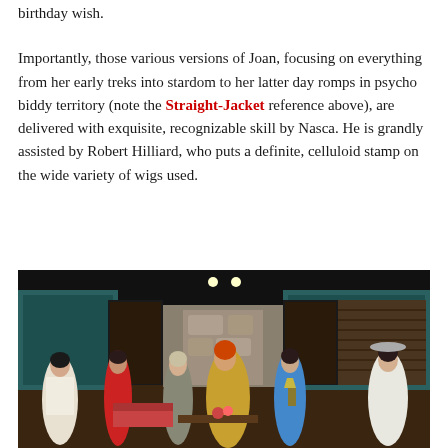birthday wish.
Importantly, those various versions of Joan, focusing on everything from her early treks into stardom to her latter day romps in psycho biddy territory (note the Straight-Jacket reference above), are delivered with exquisite, recognizable skill by Nasca. He is grandly assisted by Robert Hilliard, who puts a definite, celluloid stamp on the wide variety of wigs used.
[Figure (photo): Stage performance photo showing seven performers on a theatrical set dressed in costumes representing various eras. The set includes a mid-century modern living room with wood paneling, louvered shutters, and stone fireplace. Performers wear colorful costumes including a white floral dress, red dress, plaid outfit, gold skirt, blue dress, and white ruffled dress.]